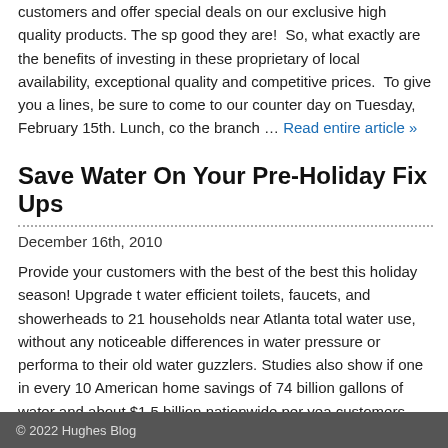customers and offer special deals on our exclusive high quality products. The sp good they are!  So, what exactly are the benefits of investing in these proprietary of local availability, exceptional quality and competitive prices.  To give you a lines, be sure to come to our counter day on Tuesday, February 15th. Lunch, co the branch … Read entire article »
Save Water On Your Pre-Holiday Fix Ups
December 16th, 2010
Provide your customers with the best of the best this holiday season! Upgrade t water efficient toilets, faucets, and showerheads to 21 households near Atlanta total water use, without any noticeable differences in water pressure or performa to their old water guzzlers. Studies also show if one in every 10 American home savings of 74 billion gallons of water and about $1.5 billion nationwide per yea customers money. Ensure customer satisfaction, … Read entire article »
© 2022 Hughes Blog